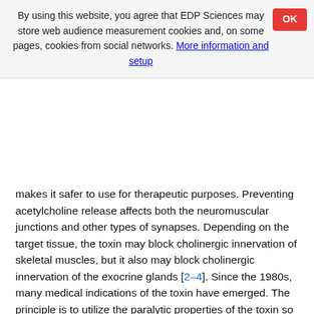By using this website, you agree that EDP Sciences may store web audience measurement cookies and, on some pages, cookies from social networks. More information and setup
makes it safer to use for therapeutic purposes. Preventing acetylcholine release affects both the neuromuscular junctions and other types of synapses. Depending on the target tissue, the toxin may block cholinergic innervation of skeletal muscles, but it also may block cholinergic innervation of the exocrine glands [2–4]. Since the 1980s, many medical indications of the toxin have emerged. The principle is to utilize the paralytic properties of the toxin so as to eliminate excessive or even painful muscle contractions. Although the use of the toxin is widespread in cosmetic surgery, it is also used in many other specialties: in gastroenterology, it is used in cases of dysphagia, achalasia, and esophageal motor disorders; in urology, it is used in cases of overactive bladder and vescicosphincteric disorders; in otolaryngology, it is used